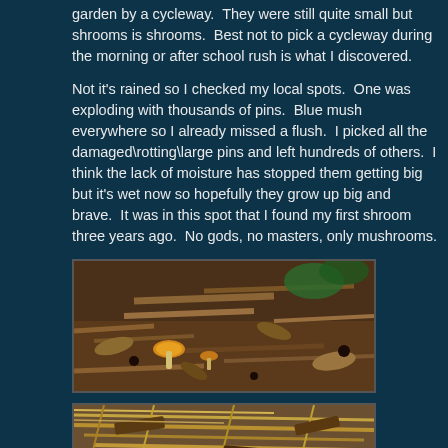garden by a cycleway.  They were still quite small but shrooms is shrooms.  Best not to pick a cycleway during the morning or after school rush is what I discovered.
Not it's rained so I checked my local spots.  One was exploding with thousands of pins.  Blue mush everywhere so I already missed a flush.  I picked all the damaged\rotting\large pins and left hundreds of others.  I think the lack of moisture has stopped them getting big but it's wet now so hopefully they grow up big and brave.  It was in this spot that I found my first shroom three years ago.  No gods, no masters, only mushrooms.
[Figure (photo): Photo of wood chip mulch ground with small orange/yellow mushroom pins emerging among dead leaves and bark debris]
[Figure (photo): Photo of wood chip mulch with straw-colored fibrous material showing mushroom mycelium or pins in mulch]